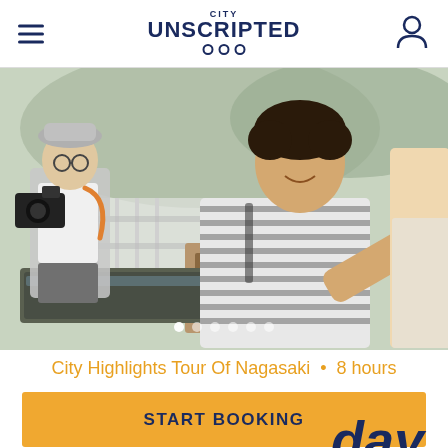CITY UNSCRIPTED ○○○
[Figure (photo): Tourists at a Japanese shrine/temple, a woman in striped shirt using a wooden ladle at a water basin, man with camera in background, another person on right]
City Highlights Tour Of Nagasaki • 8 hours
START BOOKING
day